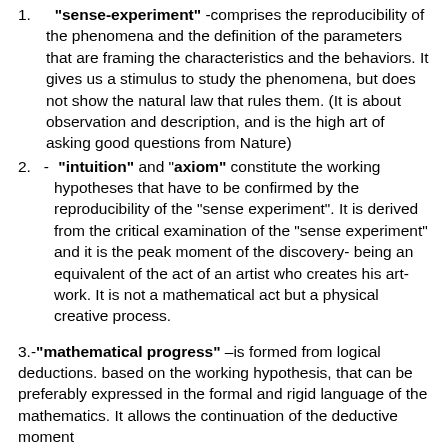1. "sense-experiment" -comprises the reproducibility of the phenomena and the definition of the parameters that are framing the characteristics and the behaviors. It gives us a stimulus to study the phenomena, but does not show the natural law that rules them. (It is about observation and description, and is the high art of asking good questions from Nature)
2. - "intuition" and "axiom" constitute the working hypotheses that have to be confirmed by the reproducibility of the “sense experiment”. It is derived from the critical examination of the “sense experiment” and it is the peak moment of the discovery- being an equivalent of the act of an artist who creates his art-work. It is not a mathematical act but a physical creative process.
3.-"mathematical progress" –is formed from logical deductions. based on the working hypothesis, that can be preferably expressed in the formal and rigid language of the mathematics. It allows the continuation of the deductive moment for getting new knowledge – to be verified from time to time experimentally (this opens the way to the inductive method